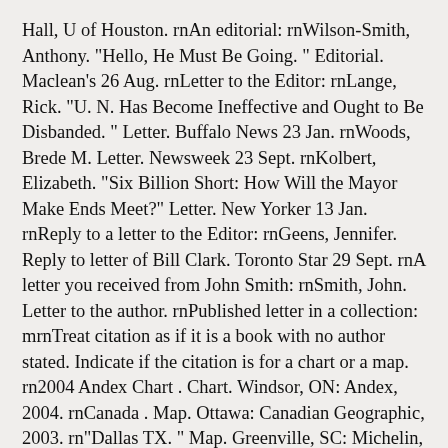Hall, U of Houston. rnAn editorial: rnWilson-Smith, Anthony. "Hello, He Must Be Going. " Editorial. Maclean's 26 Aug. rnLetter to the Editor: rnLange, Rick. "U. N. Has Become Ineffective and Ought to Be Disbanded. " Letter. Buffalo News 23 Jan. rnWoods, Brede M. Letter. Newsweek 23 Sept. rnKolbert, Elizabeth. "Six Billion Short: How Will the Mayor Make Ends Meet?" Letter. New Yorker 13 Jan. rnReply to a letter to the Editor: rnGeens, Jennifer. Reply to letter of Bill Clark. Toronto Star 29 Sept. rnA letter you received from John Smith: rnSmith, John. Letter to the author. rnPublished letter in a collection: mrnTreat citation as if it is a book with no author stated. Indicate if the citation is for a chart or a map. rn2004 Andex Chart . Chart. Windsor, ON: Andex, 2004. rnCanada . Map. Ottawa: Canadian Geographic, 2003. rn"Dallas TX. " Map. Greenville, SC: Michelin, 2005. rnComponents: 1) Name of composer. rnStrauss, Richard. Träumerei . op. rnComponents for a published score, similar to a book citation: 1) Name of composer